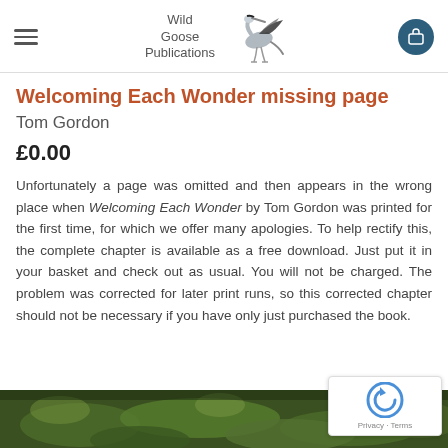Wild Goose Publications
Welcoming Each Wonder missing page
Tom Gordon
£0.00
Unfortunately a page was omitted and then appears in the wrong place when Welcoming Each Wonder by Tom Gordon was printed for the first time, for which we offer many apologies. To help rectify this, the complete chapter is available as a free download. Just put it in your basket and check out as usual. You will not be charged. The problem was corrected for later print runs, so this corrected chapter should not be necessary if you have only just purchased the book.
[Figure (photo): Green foliage photo at the bottom of the page]